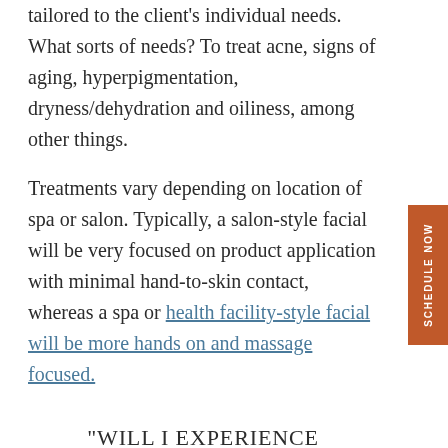tailored to the client's individual needs. What sorts of needs? To treat acne, signs of aging, hyperpigmentation, dryness/dehydration and oiliness, among other things.
Treatments vary depending on location of spa or salon. Typically, a salon-style facial will be very focused on product application with minimal hand-to-skin contact, whereas a spa or health facility-style facial will be more hands on and massage focused.
“WILL I EXPERIENCE BREAKOUTS AFTER MY FACIAL?”